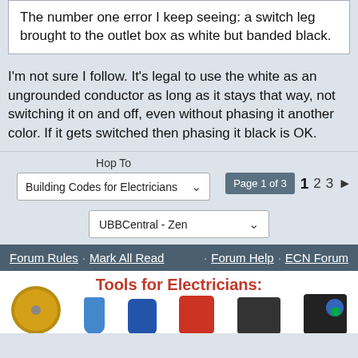The number one error I keep seeing: a switch leg brought to the outlet box as white but banded black.
I'm not sure I follow. It's legal to use the white as an ungrounded conductor as long as it stays that way, not switching it on and off, even without phasing it another color. If it gets switched then phasing it black is OK.
Hop To
Building Codes for Electricians
Page 1 of 3  1  2  3  ▶
UBBCentral - Zen
Forum Rules · Mark All Read · Forum Help · ECN Forum
[Figure (illustration): Advertisement banner with red bold text 'Tools for Electricians:' and images of electrical tools including a wire spool, fish tape, drill, bag, generator, and wire reel organized across the bottom.]